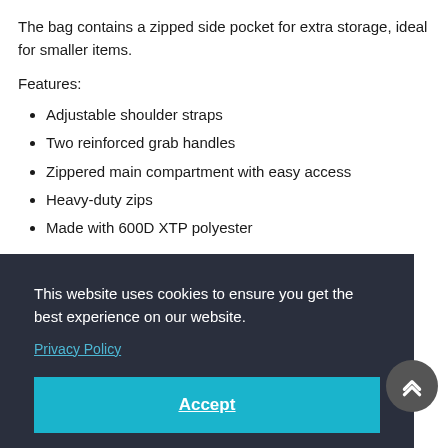The bag contains a zipped side pocket for extra storage, ideal for smaller items.
Features:
Adjustable shoulder straps
Two reinforced grab handles
Zippered main compartment with easy access
Heavy-duty zips
Made with 600D XTP polyester
This website uses cookies to ensure you get the best experience on our website.
Privacy Policy
Accept
Size: 68cm x 30cm x 32cm